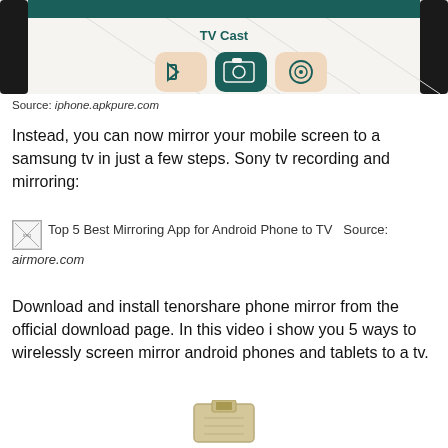[Figure (screenshot): Partial screenshot of a phone displaying a 'TV Cast' app interface with icons for video, camera, and screen mirroring on a white and teal background]
Source: iphone.apkpure.com
Instead, you can now mirror your mobile screen to a samsung tv in just a few steps. Sony tv recording and mirroring:
[Figure (screenshot): Top 5 Best Mirroring App for Android Phone to TV — broken image placeholder with alt text]
Source:
airmore.com
Download and install tenorshare phone mirror from the official download page. In this video i show you 5 ways to wirelessly screen mirror android phones and tablets to a tv.
[Figure (photo): Partial photo of a small hardware device (USB/HDMI adapter) visible at bottom of page]